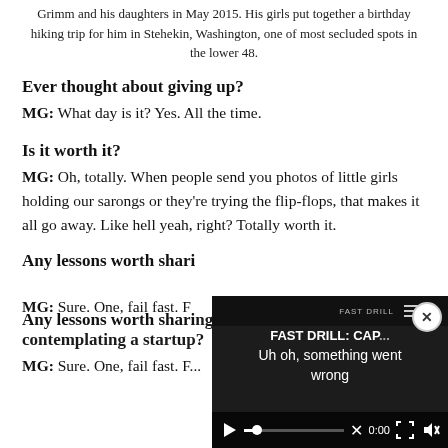Grimm and his daughters in May 2015. His girls put together a birthday hiking trip for him in Stehekin, Washington, one of most secluded spots in the lower 48.
Ever thought about giving up?
MG: What day is it? Yes. All the time.
Is it worth it?
MG: Oh, totally. When people send you photos of little girls holding our sarongs or they're trying the flip-flops, that makes it all go away. Like hell yeah, right? Totally worth it.
Any lessons worth sharing for those contemplating a startup?
MG: Sure. One, fail fast. F...
[Figure (screenshot): Video player overlay showing 'FAST DRILL: CAP...' title with error message 'Uh oh, something went wrong' and playback controls at bottom. Close button in top right corner.]